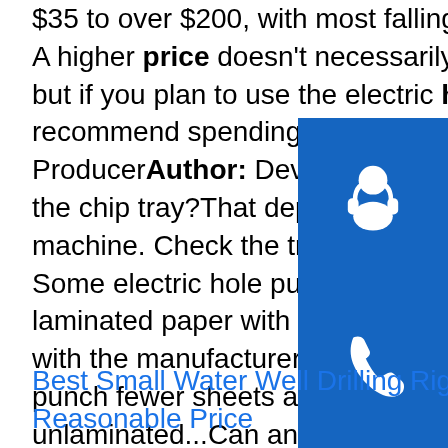$35 to over $200, with most falling in the $80 to $100 range. A higher price doesn't necessarily indicate a better product, but if you plan to use the electric hole punch often, we recommend spending at least $80.Occupation: Web ProducerAuthor: DevanganaHow often do I need to empty the chip tray?That depends on how often you use the machine. Check the tray periodically to see if it's getting full. Some electric hole punchers have a wi o...Can I punch laminated paper with an electric hole punch?Possibly. Check with the manufacturer if you're not sure. You might have to punch fewer sheets at once. Laminated paper is thicker than unlaminated...Can an electric hole punch accommodate different sizes of paper? All electric hole punchers should be able to accommodate standard 8.5 x 11-inch paper, but some might also be able to accommodate paper of other si...
[Figure (illustration): Stack of three blue icon buttons: headset/support icon, phone icon, Skype icon]
Best Small Water Well Drilling Rigs for ... - Reasonable Price